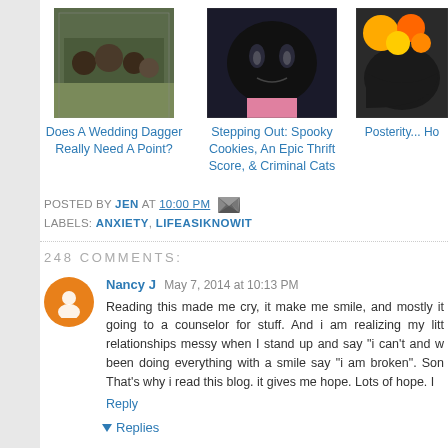[Figure (photo): Group photo of people outdoors in black shirts]
[Figure (photo): Black cat close-up photo]
[Figure (photo): Halloween candy bowl with skeleton decoration]
Does A Wedding Dagger Really Need A Point?
Stepping Out: Spooky Cookies, An Epic Thrift Score, & Criminal Cats
Posterity... Ho
POSTED BY JEN AT 10:00 PM
LABELS: ANXIETY, LIFEASIKNOWIT
248 COMMENTS:
Nancy J May 7, 2014 at 10:13 PM
Reading this made me cry, it make me smile, and mostly it going to a counselor for stuff. And i am realizing my litt relationships messy when I stand up and say "i can't and w been doing everything with a smile say "i am broken". Son That's why i read this blog. it gives me hope. Lots of hope. I
Reply
Replies